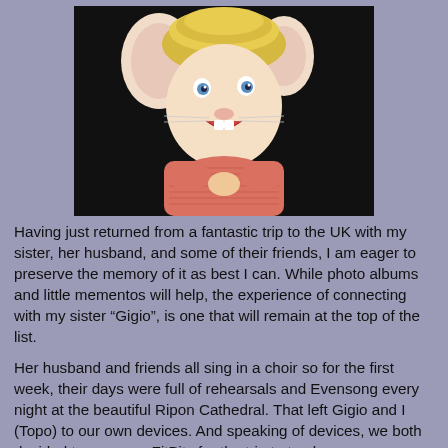[Figure (photo): A mouse puppet or toy figure with large ears, blue eyes, yellow/blonde fuzzy hat, and a pink knit sweater, posed against a dark black background. The figure has an open mouth showing teeth and is holding its hands/paws together.]
Having just returned from a fantastic trip to the UK with my sister, her husband, and some of their friends, I am eager to preserve the memory of it as best I can.  While photo albums and little mementos will help, the experience of connecting with my sister “Gigio”, is one that will remain at the top of the list.
Her husband and friends all sing in a choir so for the first week, their days were full of rehearsals and Evensong every night at the beautiful Ripon Cathedral. That left Gigio and I (Topo) to our own devices.  And speaking of devices, we both decided to wear our FitBits for the trip to track our...